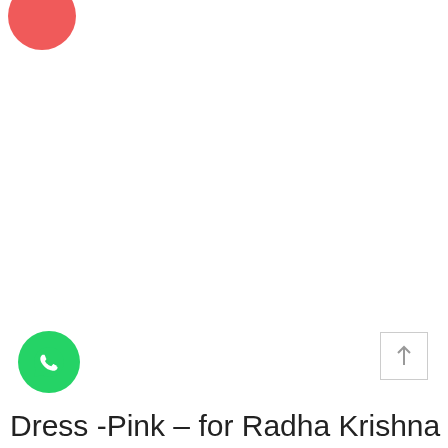[Figure (other): Pink circle logo/icon in top left corner]
[Figure (other): Green WhatsApp button (circle with WhatsApp logo) in bottom left]
[Figure (other): Scroll-to-top button (white square with upward arrow) in bottom right]
Dress -Pink – for Radha Krishna 12 inches (